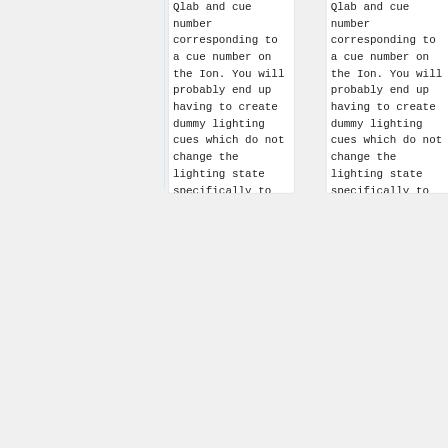| Qlab and cue number corresponding to a cue number on the Ion. You will probably end up having to create dummy lighting cues which do not change the lighting state specifically to trigger QLab cues. | Qlab and cue number corresponding to a cue number on the Ion. You will probably end up having to create dummy lighting cues which do not change the lighting state specifically to trigger QLab cues. |